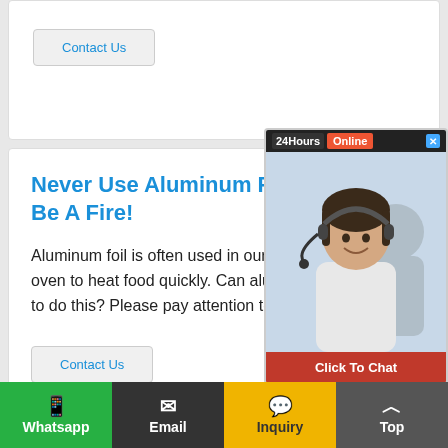[Figure (screenshot): Partial top card with Contact Us button]
Never Use Aluminum Foil In This Way, Otherwise It Will Be A Fire!
Aluminum foil is often used in our daily life, especially when we use microwave oven to heat food quickly. Can aluminum foil be used in microwave oven? Is it safe to do this? Please pay attention to the difference of microwave…
Contact Us
[Figure (screenshot): 24Hours Online chat popup widget with customer service agent photo and Click To Chat button]
The Aluminum Foil Rolling Mill Pro...
Whatsapp   Email   Inquiry   Top